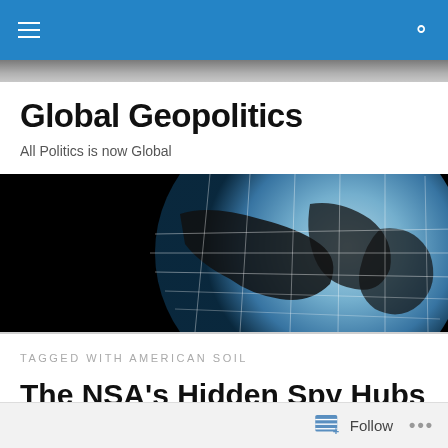Global Geopolitics — navigation bar with menu and search
[Figure (photo): Globe with grid lines on dark background — banner image for Global Geopolitics website]
Global Geopolitics
All Politics is now Global
TAGGED WITH AMERICAN SOIL
The NSA's Hidden Spy Hubs in Eight U.S. Cities
Follow